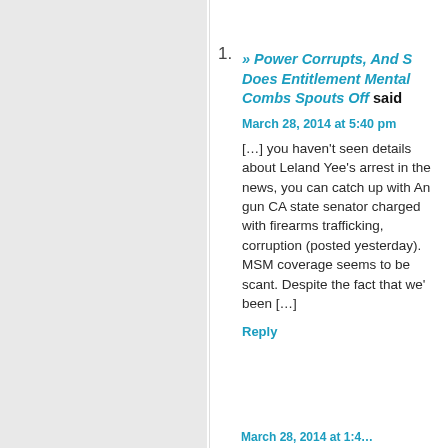1. » Power Corrupts, And S Does Entitlement Mental Combs Spouts Off said
March 28, 2014 at 5:40 pm
[…] you haven't seen details about Leland Yee's arrest in the news, you can catch up with An gun CA state senator charged with firearms trafficking, corruption (posted yesterday). MSM coverage seems to be scant. Despite the fact that we' been […]
Reply
2. » CNN Lies About Their Lack Of Reporting On Leland Yee's Arrest Com Spouts Off said